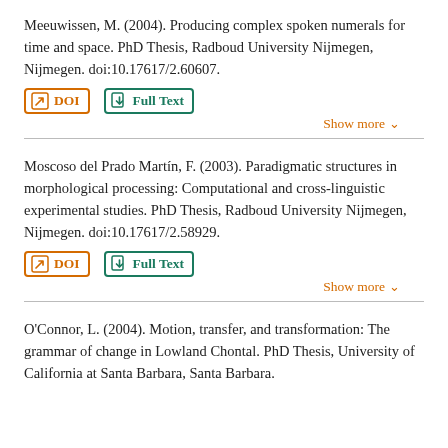Meeuwissen, M. (2004). Producing complex spoken numerals for time and space. PhD Thesis, Radboud University Nijmegen, Nijmegen. doi:10.17617/2.60607.
Moscoso del Prado Martín, F. (2003). Paradigmatic structures in morphological processing: Computational and cross-linguistic experimental studies. PhD Thesis, Radboud University Nijmegen, Nijmegen. doi:10.17617/2.58929.
O'Connor, L. (2004). Motion, transfer, and transformation: The grammar of change in Lowland Chontal. PhD Thesis, University of California at Santa Barbara, Santa Barbara.